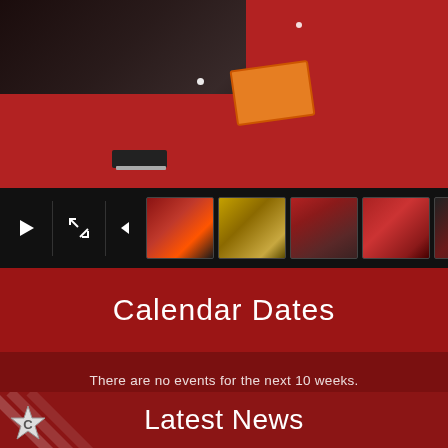[Figure (photo): Top portion of a school photo showing children on a red carpet/floor, with dark clothing and an orange item visible. Below is a filmstrip/gallery control bar with play, fullscreen, navigation buttons, and 5 thumbnail images.]
Calendar Dates
There are no events for the next 10 weeks.
Read more
Latest News